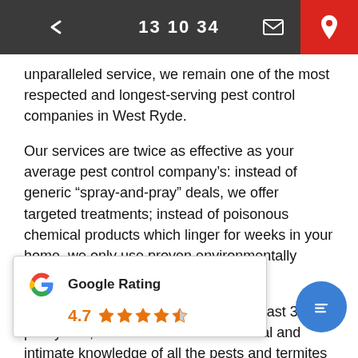13 10 34
unparalleled service, we remain one of the most respected and longest-serving pest control companies in West Ryde.
Our services are twice as effective as your average pest control company's: instead of generic “spray-and-pray” deals, we offer targeted treatments; instead of poisonous chemical products which linger for weeks in your home, we only use proven environmentally friendly solutions.
We’ve been working the area for the past 31-plus years, which means we have local and intimate knowledge of all the pests and termites affecting the area. Through this experience we’ve developed targeted solutions for immediately and safely purging all species and sub-species of common household pests from your home.
Plus, we promise to leave your home cleaner than it was when we arrived – with no chemical residue or foul odours. We use state-of-the art equipment and all our products are safe for kids, pets and the